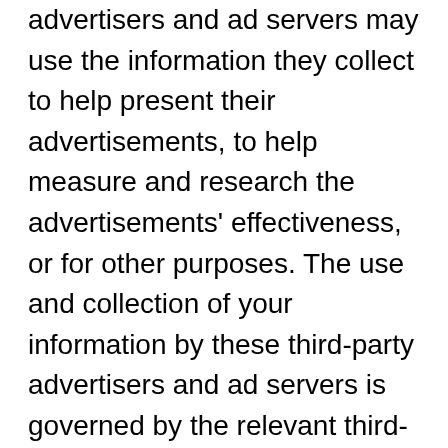advertisers and ad servers may use the information they collect to help present their advertisements, to help measure and research the advertisements' effectiveness, or for other purposes. The use and collection of your information by these third-party advertisers and ad servers is governed by the relevant third-party's privacy policy and is not covered by our Privacy Policy. Indeed, the privacy policies of these third-party advertisers and ad servers may be different from ours. If you have any concerns about a third